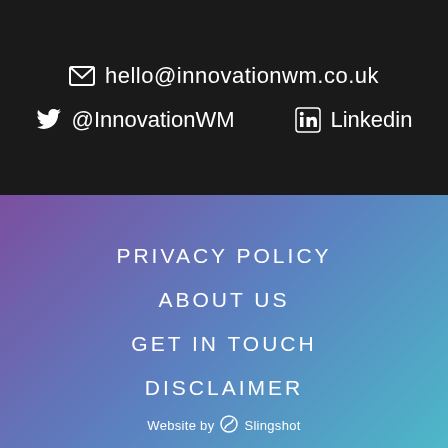hello@innovationwm.co.uk
@InnovationWM
Linkedin
PRIVACY POLICY
ABOUT US
GET IN TOUCH
DISCLAIMER
Website by Slingshot